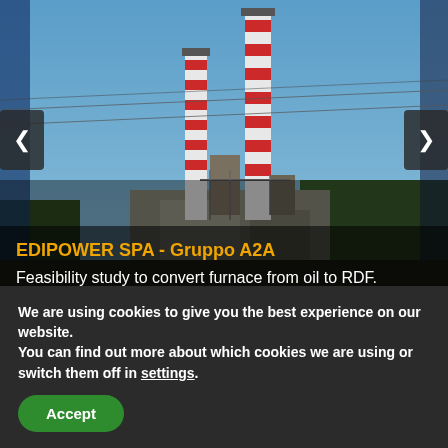[Figure (photo): Industrial power plant with two tall striped smokestacks against a blue sky, with trees and industrial structures visible. Dark overlay at bottom.]
EDIPOWER SPA - Gruppo A2A
Feasibility study to convert furnace from oil to RDF.
Power plant, Pre-feasibility study
We are using cookies to give you the best experience on our website.
You can find out more about which cookies we are using or switch them off in settings.